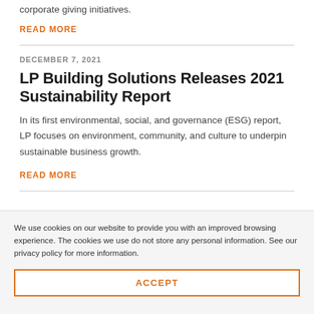corporate giving initiatives.
READ MORE
DECEMBER 7, 2021
LP Building Solutions Releases 2021 Sustainability Report
In its first environmental, social, and governance (ESG) report, LP focuses on environment, community, and culture to underpin sustainable business growth.
READ MORE
We use cookies on our website to provide you with an improved browsing experience. The cookies we use do not store any personal information. See our privacy policy for more information.
ACCEPT